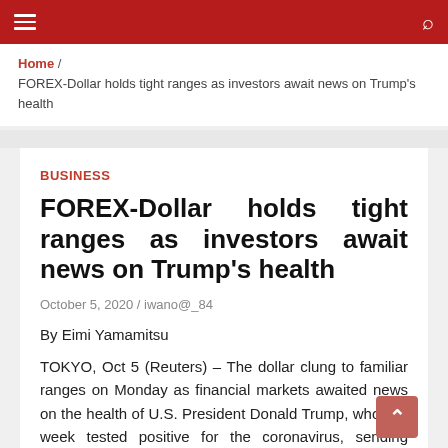Navigation bar with hamburger menu and search icon
Home / FOREX-Dollar holds tight ranges as investors await news on Trump's health
BUSINESS
FOREX-Dollar holds tight ranges as investors await news on Trump's health
October 5, 2020 / iwano@_84
By Eimi Yamamitsu
TOKYO, Oct 5 (Reuters) – The dollar clung to familiar ranges on Monday as financial markets awaited news on the health of U.S. President Donald Trump, who last week tested positive for the coronavirus, sending investors into